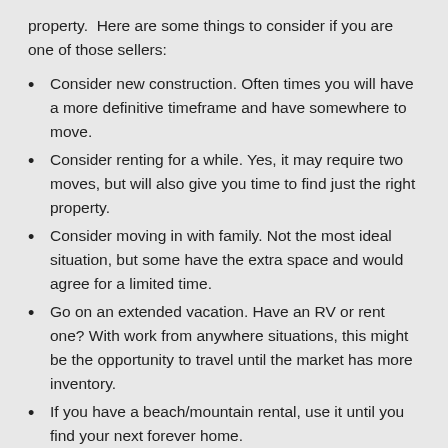property.  Here are some things to consider if you are one of those sellers:
Consider new construction. Often times you will have a more definitive timeframe and have somewhere to move.
Consider renting for a while. Yes, it may require two moves, but will also give you time to find just the right property.
Consider moving in with family. Not the most ideal situation, but some have the extra space and would agree for a limited time.
Go on an extended vacation. Have an RV or rent one? With work from anywhere situations, this might be the opportunity to travel until the market has more inventory.
If you have a beach/mountain rental, use it until you find your next forever home.